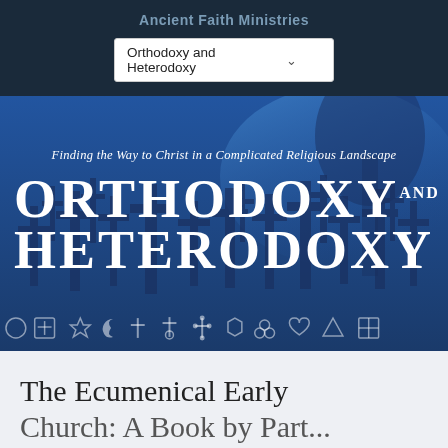Ancient Faith Ministries
Orthodoxy and Heterodoxy
[Figure (illustration): Book cover image for 'Orthodoxy and Heterodoxy: Finding the Way to Christ in a Complicated Religious Landscape' by Ancient Faith Ministries. Blue background with silhouettes of crosses, large bold white text reading ORTHODOXY AND HETERODOXY, italic subtitle above, and a row of religious symbols along the bottom.]
The Ecumenical Early Church: A Book by Part...